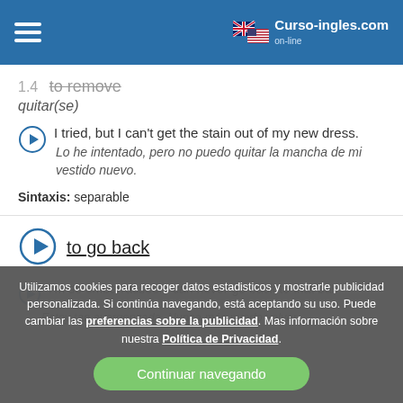Curso-ingles.com
to remove
quitar(se)
I tried, but I can't get the stain out of my new dress.
Lo he intentado, pero no puedo quitar la mancha de mi vestido nuevo.
Sintaxis: separable
to go back
Utilizamos cookies para recoger datos estadisticos y mostrarle publicidad personalizada. Si continúa navegando, está aceptando su uso. Puede cambiar las preferencias sobre la publicidad. Mas información sobre nuestra Política de Privacidad.
I'm so embarrassed. I can never go back to that bar.
Estoy tan avergonzada. Nunca más puedo volver